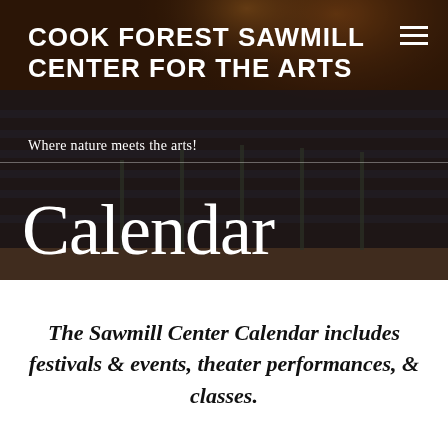[Figure (photo): Interior of a theatre/auditorium with rows of dark seats and stage lighting, viewed from the side, with warm brown wooden ceiling and dramatic atmosphere. Used as hero background image.]
COOK FOREST SAWMILL CENTER FOR THE ARTS
Where nature meets the arts!
Calendar
The Sawmill Center Calendar includes festivals & events, theater performances, & classes.